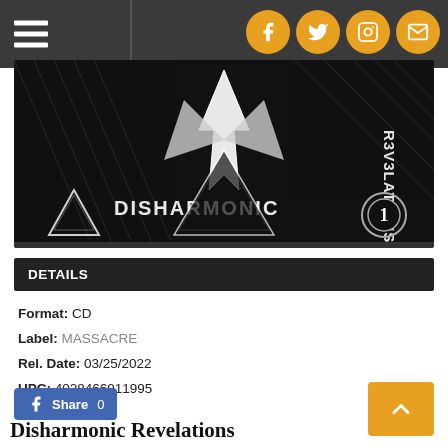Navigation bar with hamburger menu and social icons (Facebook, Twitter, Instagram, Email)
[Figure (illustration): Black and white album art for 'Disharmonic Revelations' — heavy metal style with text 'DISHARMONIC' and 'R3V3LATIONS' arranged around a central figure, geometric/occult design elements]
DETAILS
Format: CD
Label: MASSACRE
Rel. Date: 03/25/2022
UPC: 4028466911995
Share 0
Disharmonic Revelations